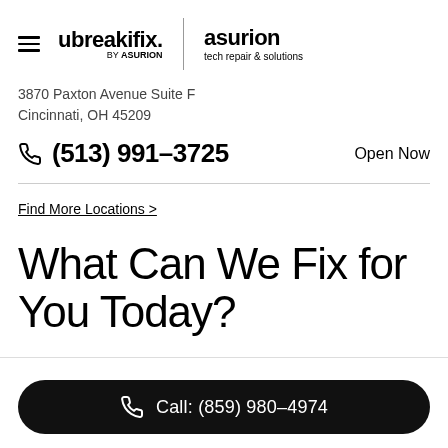[Figure (logo): ubreakifix by asurion logo and asurion tech repair & solutions logo with hamburger menu icon]
3870 Paxton Avenue Suite F
Cincinnati, OH 45209
(513) 991-3725   Open Now
Find More Locations >
What Can We Fix for You Today?
Call: (859) 980-4974